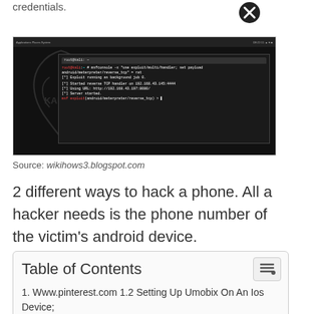credentials.
[Figure (screenshot): A Kali Linux terminal screenshot showing a reverse TCP handler session with metasploit commands and a dark background with the Kali Linux dragon logo.]
Source: wikihows3.blogspot.com
2 different ways to hack a phone. All a hacker needs is the phone number of the victim's android device.
| Table of Contents |
| --- |
| 1. Www.pinterest.com 1.2 Setting Up Umobix On An Ios Device; |
| 2. Now It's Time For The Most Awaited Section. |
| 3. The First One Is T… Ultimate Phone |